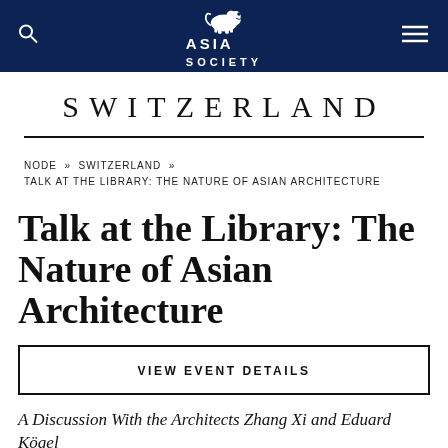Asia Society — Switzerland
SWITZERLAND
NODE » SWITZERLAND » TALK AT THE LIBRARY: THE NATURE OF ASIAN ARCHITECTURE
Talk at the Library: The Nature of Asian Architecture
VIEW EVENT DETAILS
A Discussion With the Architects Zhang Xi and Eduard Kögel